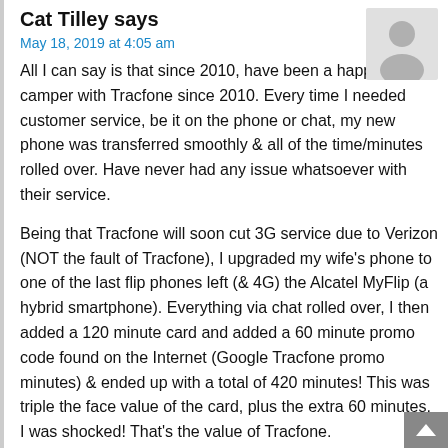Cat Tilley says
May 18, 2019 at 4:05 am
All I can say is that since 2010, have been a happy camper with Tracfone since 2010. Every time I needed customer service, be it on the phone or chat, my new phone was transferred smoothly & all of the time/minutes rolled over. Have never had any issue whatsoever with their service.
Being that Tracfone will soon cut 3G service due to Verizon (NOT the fault of Tracfone), I upgraded my wife's phone to one of the last flip phones left (& 4G) the Alcatel MyFlip (a hybrid smartphone). Everything via chat rolled over, I then added a 120 minute card and added a 60 minute promo code found on the Internet (Google Tracfone promo minutes) & ended up with a total of 420 minutes! This was triple the face value of the card, plus the extra 60 minutes, I was shocked! That's the value of Tracfone.
While some has had issues with activating devices, it's important to remember two things. First that the cashier